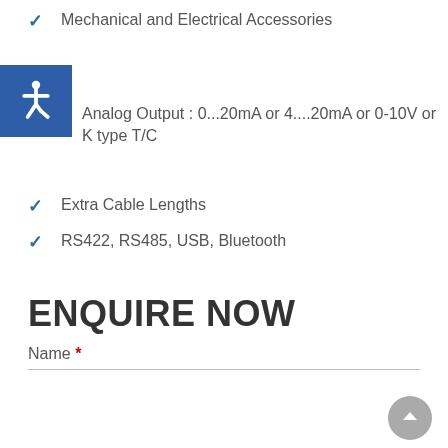Mechanical and Electrical Accessories
Analog Output : 0...20mA or 4....20mA or 0-10V or K type T/C
Extra Cable Lengths
RS422, RS485, USB, Bluetooth
ENQUIRE NOW
Name *